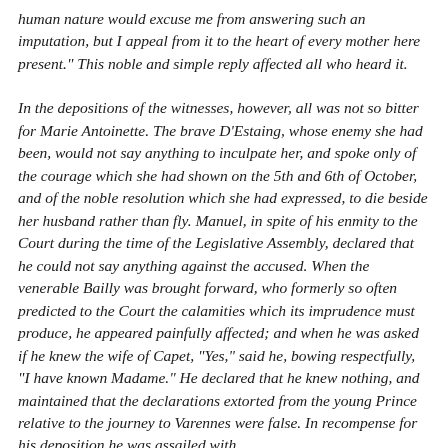human nature would excuse me from answering such an imputation, but I appeal from it to the heart of every mother here present." This noble and simple reply affected all who heard it.
In the depositions of the witnesses, however, all was not so bitter for Marie Antoinette. The brave D'Estaing, whose enemy she had been, would not say anything to inculpate her, and spoke only of the courage which she had shown on the 5th and 6th of October, and of the noble resolution which she had expressed, to die beside her husband rather than fly. Manuel, in spite of his enmity to the Court during the time of the Legislative Assembly, declared that he could not say anything against the accused. When the venerable Bailly was brought forward, who formerly so often predicted to the Court the calamities which its imprudence must produce, he appeared painfully affected; and when he was asked if he knew the wife of Capet, "Yes," said he, bowing respectfully, "I have known Madame." He declared that he knew nothing, and maintained that the declarations extorted from the young Prince relative to the journey to Varennes were false. In recompense for his deposition he was assailed with